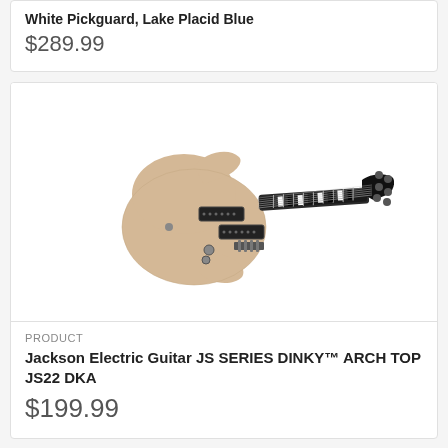White Pickguard, Lake Placid Blue
$289.99
[Figure (photo): Jackson JS Series Dinky Arch Top JS22 DKA electric guitar in natural wood finish with black hardware and striped fretboard inlays]
PRODUCT
Jackson Electric Guitar JS SERIES DINKY™ ARCH TOP JS22 DKA
$199.99